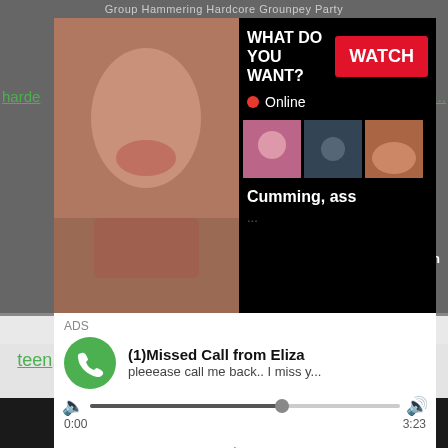Group Hammering Hardcore Grounpey Party
harde... be...
[Figure (screenshot): Adult content website screenshot showing a video thumbnail with a chat/cam overlay popup with 'WHAT DO YOU WANT?' heading and WATCH button, Online status indicator, and thumbnail images. Text reads 'Cumming, ass']
[Figure (screenshot): Ad popup: ADS label, (1)Missed Call from Eliza, pleeease call me back.. I miss y..., with audio player controls showing progress bar at ~62%, time 0:00 to 3:23, and playback controls (rewind, play, fast-forward)]
Latin Chick Pussy Teen Hardcore Latina
teen, hardcore, latina, amateur, pussysex, teenfuns, horn...
[Figure (screenshot): Dark/black video player area at bottom of page]